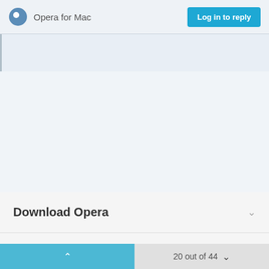Opera for Mac
Download Opera
Services
Help
Legal
Company
20 out of 44